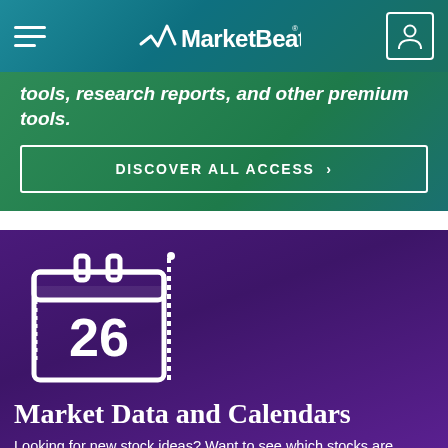MarketBeat
tools, research reports, and other premium tools.
DISCOVER ALL ACCESS >
[Figure (illustration): Calendar icon showing number 26 on a purple background]
Market Data and Calendars
Looking for new stock ideas? Want to see which stocks are moving? View our full suite of financial calendars and market data tables, all for free.